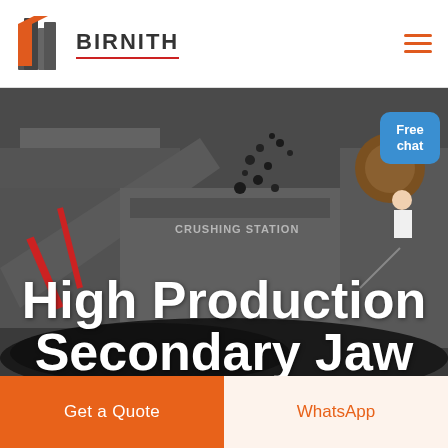BIRNITH
[Figure (photo): Industrial crushing station machinery with coal/aggregate material, dark moody industrial scene with heavy equipment and conveyor systems]
High Production Secondary Jaw Crusher Size
Free chat
Get a Quote
WhatsApp